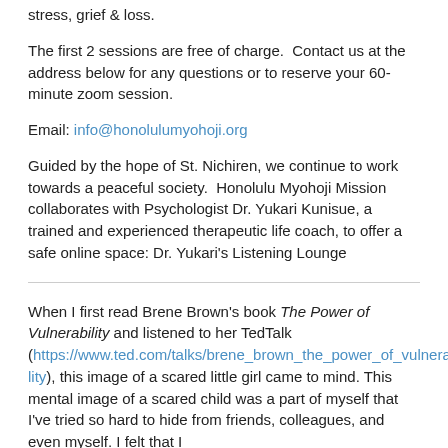stress, grief & loss.
The first 2 sessions are free of charge.  Contact us at the address below for any questions or to reserve your 60-minute zoom session.
Email: info@honolulumyohoji.org
Guided by the hope of St. Nichiren, we continue to work towards a peaceful society.  Honolulu Myohoji Mission collaborates with Psychologist Dr. Yukari Kunisue, a trained and experienced therapeutic life coach, to offer a safe online space: Dr. Yukari's Listening Lounge
When I first read Brene Brown's book The Power of Vulnerability and listened to her TedTalk (https://www.ted.com/talks/brene_brown_the_power_of_vulnerability), this image of a scared little girl came to mind. This mental image of a scared child was a part of myself that I've tried so hard to hide from friends, colleagues, and even myself. I felt that I